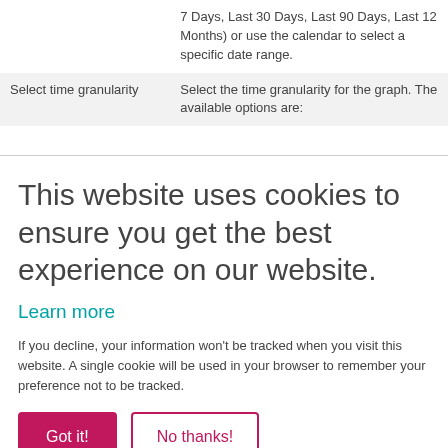|  |  |
| --- | --- |
|  | 7 Days, Last 30 Days, Last 90 Days, Last 12 Months) or use the calendar to select a specific date range. |
| Select time granularity | Select the time granularity for the graph. The available options are: |
This website uses cookies to ensure you get the best experience on our website. Learn more
If you decline, your information won’t be tracked when you visit this website. A single cookie will be used in your browser to remember your preference not to be tracked.
Got it!  No thanks!